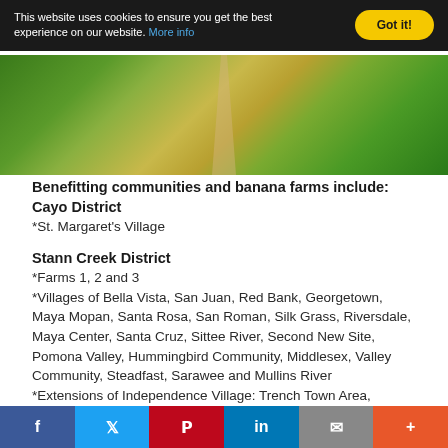This website uses cookies to ensure you get the best experience on our website. More info | Got it!
[Figure (photo): Aerial or ground-level photo of banana farm/garden with green plants and a sandy path]
Benefitting communities and banana farms include:
Cayo District
*St. Margaret's Village
Stann Creek District
*Farms 1, 2 and 3
*Villages of Bella Vista, San Juan, Red Bank, Georgetown, Maya Mopan, Santa Rosa, San Roman, Silk Grass, Riversdale, Maya Center, Santa Cruz, Sittee River, Second New Site, Pomona Valley, Hummingbird Community, Middlesex, Valley Community, Steadfast, Sarawee and Mullins River
*Extensions of Independence Village: Trench Town Area,
Facebook | Twitter | Pinterest | LinkedIn | Email | More